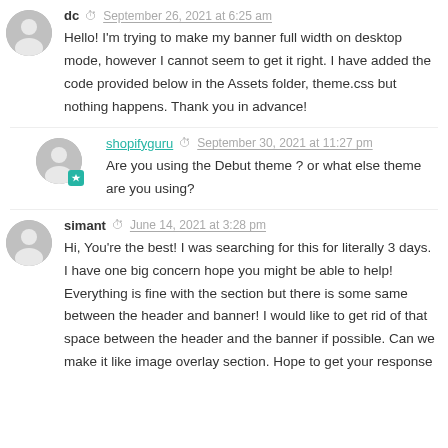dc · September 26, 2021 at 6:25 am
Hello! I'm trying to make my banner full width on desktop mode, however I cannot seem to get it right. I have added the code provided below in the Assets folder, theme.css but nothing happens. Thank you in advance!
shopifyguru · September 30, 2021 at 11:27 pm
Are you using the Debut theme ? or what else theme are you using?
simant · June 14, 2021 at 3:28 pm
Hi, You're the best! I was searching for this for literally 3 days. I have one big concern hope you might be able to help! Everything is fine with the section but there is some same between the header and banner! I would like to get rid of that space between the header and the banner if possible. Can we make it like image overlay section. Hope to get your response